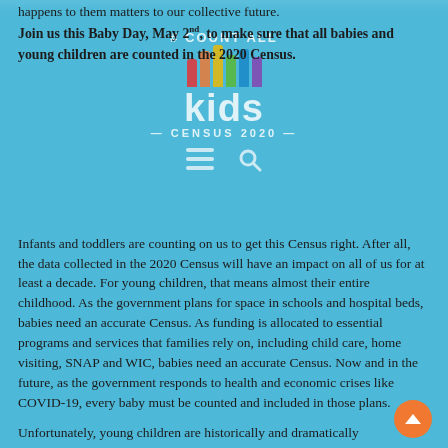happens to them matters to our collective future.
Join us this Baby Day, May 2nd, to make sure that all babies and young children are counted in the 2020 Census.
[Figure (logo): Count All Kids Census 2020 logo with colorful hands raised and white text]
Infants and toddlers are counting on us to get this Census right. After all, the data collected in the 2020 Census will have an impact on all of us for at least a decade. For young children, that means almost their entire childhood. As the government plans for space in schools and hospital beds, babies need an accurate Census. As funding is allocated to essential programs and services that families rely on, including child care, home visiting, SNAP and WIC, babies need an accurate Census. Now and in the future, as the government responds to health and economic crises like COVID-19, every baby must be counted and included in those plans.
Unfortunately, young children are historically and dramatically undercounted. We missed almost 10% of children under 5 in the 2010 Census, and we know that the COVID-19 pandemic is already